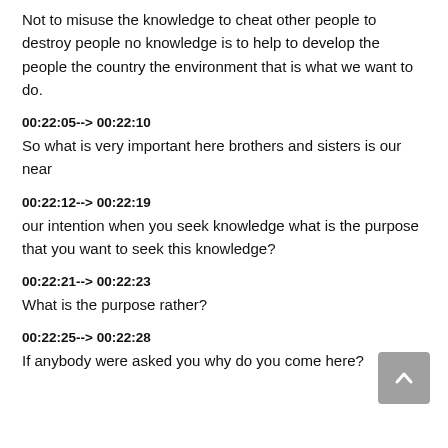Not to misuse the knowledge to cheat other people to destroy people no knowledge is to help to develop the people the country the environment that is what we want to do.
00:22:05--> 00:22:10
So what is very important here brothers and sisters is our near
00:22:12--> 00:22:19
our intention when you seek knowledge what is the purpose that you want to seek this knowledge?
00:22:21--> 00:22:23
What is the purpose rather?
00:22:25--> 00:22:28
If anybody were asked you why do you come here?